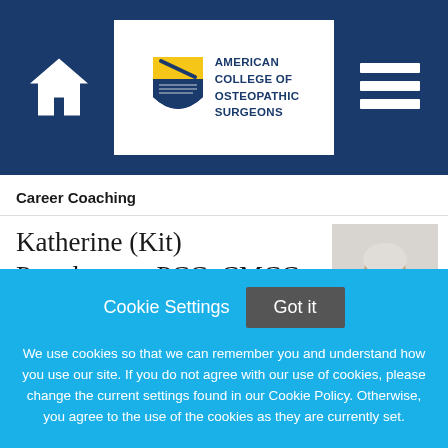[Figure (logo): American College of Osteopathic Surgeons logo with shield emblem and text on white background nav bar with home icon and hamburger menu]
Career Coaching
Katherine (Kit) Prendergast, PCC, CMCC
[Figure (photo): Photo of a woman in white top seated, shown from the shoulders up, against a light background]
"Powerful partnerships for powerful results! Have you been thinking about
Cookie Settings   Got it
We use cookies so that we can remember you and understand how you use our site. If you do not agree with our use of cookies, please change the current settings found in our Cookie Policy. Otherwise, you agree to the use of the cookies as they are currently set.